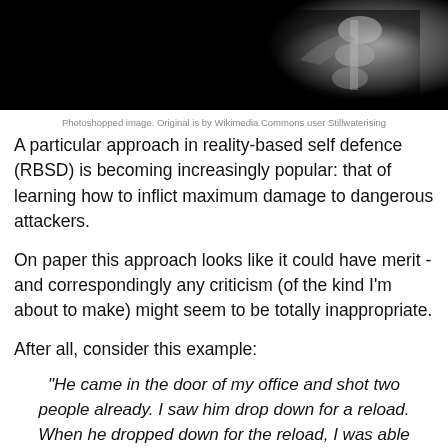[Figure (photo): Top portion of a photoshopped image showing an x-ray of a spine/neck area against a black background]
Photoshopped image. Original is by Wikimedia Commons user Stillwaterising
A particular approach in reality-based self defence (RBSD) is becoming increasingly popular: that of learning how to inflict maximum damage to dangerous attackers.
On paper this approach looks like it could have merit - and correspondingly any criticism (of the kind I'm about to make) might seem to be totally inappropriate.
After all, consider this example:
"He came in the door of my office and shot two people already. I saw him drop down for a reload. When he dropped down for the reload, I was able to tackle him and get him on the